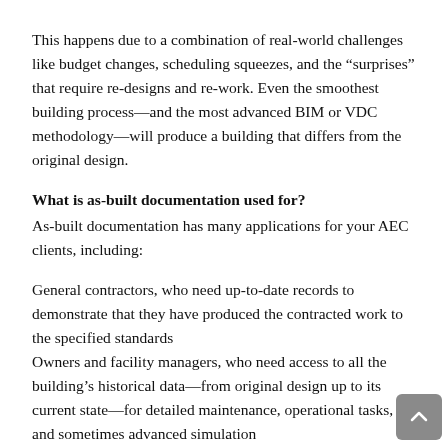This happens due to a combination of real-world challenges like budget changes, scheduling squeezes, and the “surprises” that require re-designs and re-work. Even the smoothest building process—and the most advanced BIM or VDC methodology—will produce a building that differs from the original design.
What is as-built documentation used for?
As-built documentation has many applications for your AEC clients, including:
General contractors, who need up-to-date records to demonstrate that they have produced the contracted work to the specified standards
Owners and facility managers, who need access to all the building’s historical data—from original design up to its current state—for detailed maintenance, operational tasks, and sometimes advanced simulation
Companies that work on the building in the future, for instance, contractors, who need correct measurements